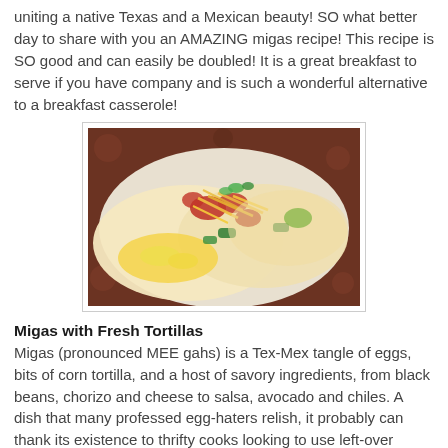uniting a native Texas and a Mexican beauty! SO what better day to share with you an AMAZING migas recipe! This recipe is SO good and can easily be doubled! It is a great breakfast to serve if you have company and is such a wonderful alternative to a breakfast casserole!
[Figure (photo): Photo of migas served in soft flour tortillas, topped with shredded cheese, diced tomatoes, green peppers, and cilantro, on a decorative brown and white plate.]
Migas with Fresh Tortillas
Migas (pronounced MEE gahs) is a Tex-Mex tangle of eggs, bits of corn tortilla, and a host of savory ingredients, from black beans, chorizo and cheese to salsa, avocado and chiles. A dish that many professed egg-haters relish, it probably can thank its existence to thrifty cooks looking to use left-over tortillas, since tortillas are an integral part of the